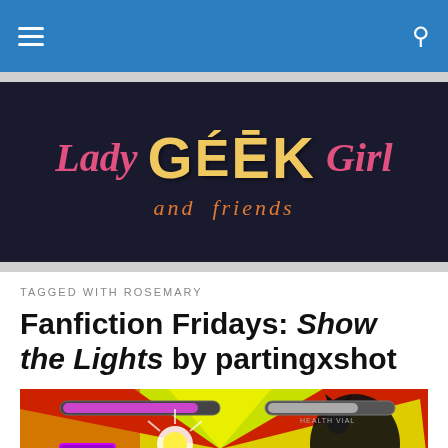Lady Geek Girl and friends
[Figure (logo): Lady Geek Girl and friends logo on dark navy background with stylized text]
TAGGED WITH ROSEMARY
Fanfiction Fridays: Show the Lights by partingxshot
[Figure (screenshot): Colorful video game screenshot with anime-style action scene showing health bars and silhouetted characters]